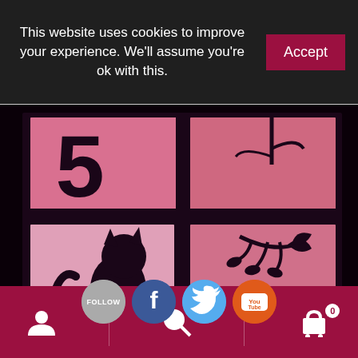This website uses cookies to improve your experience. We'll assume you're ok with this.  Accept
[Figure (photo): Silhouette of a cat sitting on a windowsill, viewed from outside. The window has four panes lit with pink/rose light. A large number '5' appears in the top left pane, a hanging branch with leaves in the top right, the cat silhouette in the lower left, and a decorative botanical branch in the lower right. The scene is dark outside the window.]
[Figure (infographic): Social media icons row: FOLLOW button (grey circle), Facebook icon (blue circle with f), Twitter icon (light blue circle with bird), YouTube icon (orange circle with YouTube logo)]